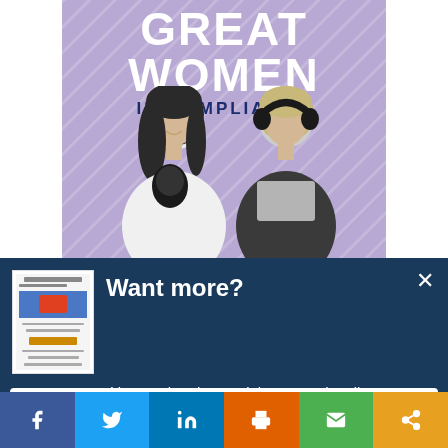[Figure (illustration): Purple podcast banner titled 'GREAT WOMEN IN COMPLIANCE' with two women (one with headphones) in black and white below the title text]
Want more?
[Figure (thumbnail): Small thumbnail image of a newsletter/document]
Get CCI's weekly round-up in your inbox. Unsubscribe anytime.
Let's do this!
[Figure (infographic): Social sharing bar with Facebook, Twitter, LinkedIn, Print, Email, and Share buttons]